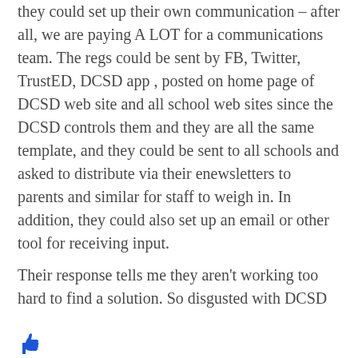they could set up their own communication – after all, we are paying A LOT for a communications team. The regs could be sent by FB, Twitter, TrustED, DCSD app , posted on home page of DCSD web site and all school web sites since the DCSD controls them and they are all the same template, and they could be sent to all schools and asked to distribute via their enewsletters to parents and similar for staff to weigh in. In addition, they could also set up an email or other tool for receiving input.
Their response tells me they aren't working too hard to find a solution. So disgusted with DCSD
[Figure (illustration): Blue thumbs up icon]